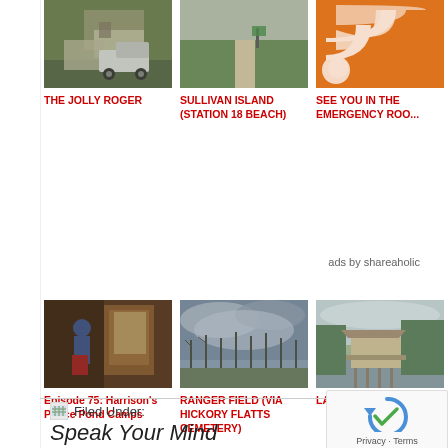[Figure (photo): Photo of a truck on a dirt path among trees - The Jolly Roger]
THE JOLLY ROGER
[Figure (photo): Photo of a sandy road through tall grass - Sullivan Island Station 18 Beach]
SULLIVAN ISLAND (STATION 18 BEACH)
[Figure (photo): Orange RSS feed icon - See You in the Emergency Room]
SEE YOU IN THE EMERGENCY ROO
[Figure (photo): Interior of a cabin with a boy standing - Episode 75 Harrison's Pierce Pond Camps]
Episode 75: Harrison's Pierce Pond Camps
[Figure (photo): Dark cloudy sky over bare trees - Ranger Field via Hickory Flatts Cemetery]
RANGER FIELD (VIA HICKORY FLATTS CEMETERY)
[Figure (photo): A small cabin on stilts by a lake - Lake Louis]
LAKE LOUIS
ads by shareaholic
Filed Under:
Speak Your Mind